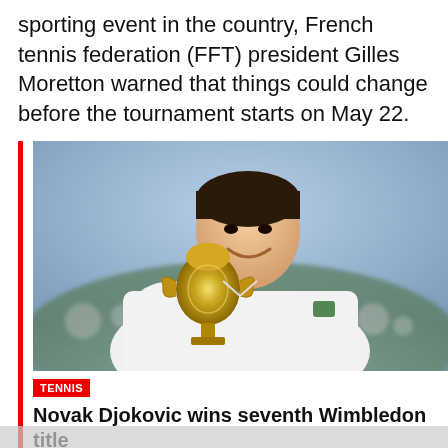sporting event in the country, French tennis federation (FFT) president Gilles Moretton warned that things could change before the tournament starts on May 22.
[Figure (photo): Novak Djokovic holding the Wimbledon trophy, smiling, wearing a white Lacoste shirt, with a blurred crowd in the background]
TENNIS
Novak Djokovic wins seventh Wimbledon title
Jul 11, 2022